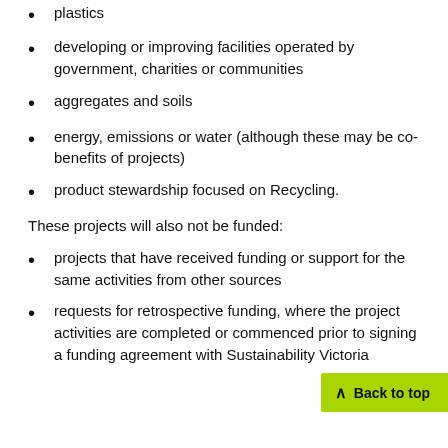plastics
developing or improving facilities operated by government, charities or communities
aggregates and soils
energy, emissions or water (although these may be co-benefits of projects)
product stewardship focused on Recycling.
These projects will also not be funded:
projects that have received funding or support for the same activities from other sources
requests for retrospective funding, where the project activities are completed or commenced prior to signing a funding agreement with Sustainability Victoria